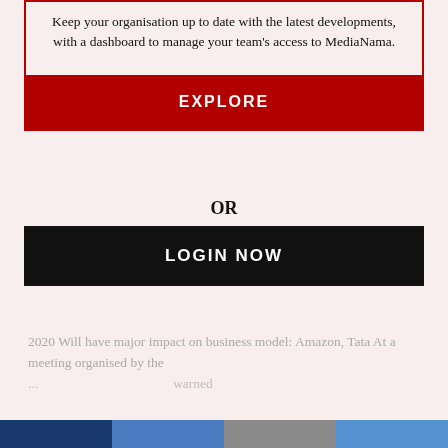Keep your organisation up to date with the latest developments, with a dashboard to manage your team's access to MediaNama.
EXPLORE
OR
LOGIN NOW
2020 Will have major impact on business model: Amazon, Tata At a meeting organised by the ... warned